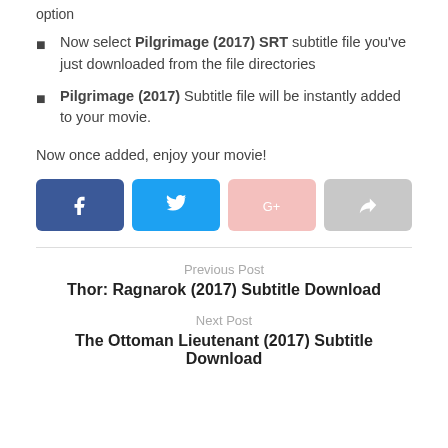option
Now select Pilgrimage (2017) SRT subtitle file you've just downloaded from the file directories
Pilgrimage (2017) Subtitle file will be instantly added to your movie.
Now once added, enjoy your movie!
[Figure (other): Social share buttons: Facebook, Twitter, Google+, Share]
Previous Post
Thor: Ragnarok (2017) Subtitle Download
Next Post
The Ottoman Lieutenant (2017) Subtitle Download